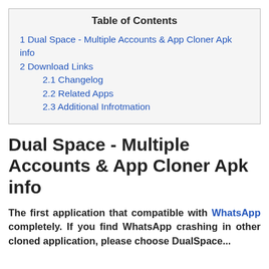Dual Space - Multiple Accounts & App Cloner Apk info
The first application that compatible with WhatsApp completely. If you find WhatsApp crashing in other cloned application, please choose DualSpace...